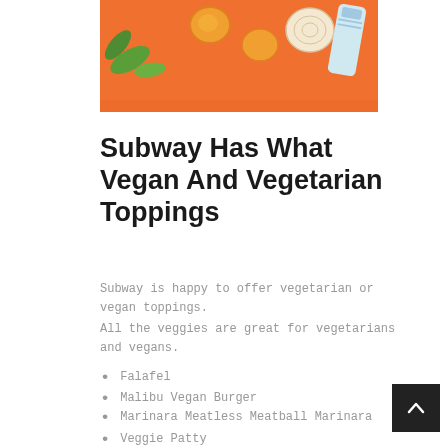[Figure (photo): Photo of vegetables and ingredients on an orange background - includes green leaves, orange carrots, onion slices, and a tube/package, viewed from above on orange surface.]
Subway Has What Vegan And Vegetarian Toppings
Subway is happy to offer vegetarian or vegan toppings.
All the veggies are great for vegetarians and vegans.
Falafel
Malibu Vegan Burger
Marinara Meatless Meatball Marinara
Veggie Patty